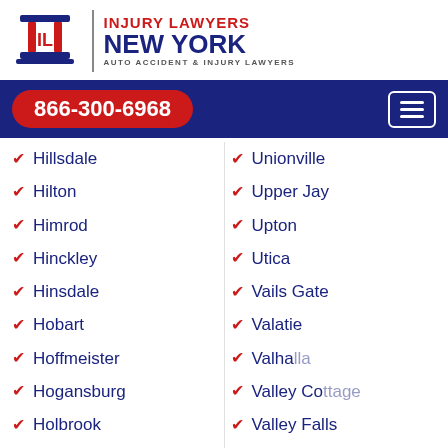[Figure (logo): Injury Lawyers New York logo with IL column icon and text: INJURY LAWYERS NEW YORK AUTO ACCIDENT & INJURY LAWYERS]
866-300-6968
Hillsdale
Unionville
Hilton
Upper Jay
Himrod
Upton
Hinckley
Utica
Hinsdale
Vails Gate
Hobart
Valatie
Hoffmeister
Valhalla
Hogansburg
Valley Cottage
Holbrook
Valley Falls
Holland
Valley Stream
Holland Patent
Van Buren Point